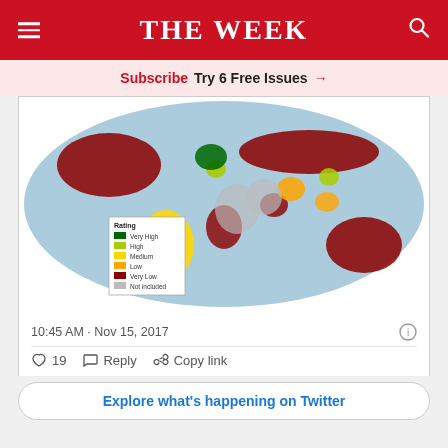THE WEEK
Subscribe  Try 6 Free Issues →
[Figure (map): World map showing ratings by country: Very High (dark green), High (light green), Medium (yellow), Low (orange), Very Low (dark red), Not included (gray). Legend in lower-left corner.]
10:45 AM · Nov 15, 2017
♡ 19   Reply   Copy link
Explore what's happening on Twitter